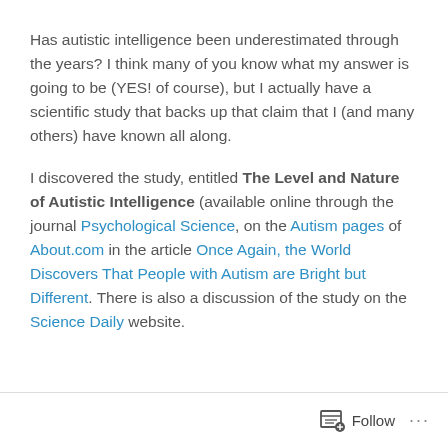Has autistic intelligence been underestimated through the years? I think many of you know what my answer is going to be (YES! of course), but I actually have a scientific study that backs up that claim that I (and many others) have known all along.
I discovered the study, entitled The Level and Nature of Autistic Intelligence (available online through the journal Psychological Science, on the Autism pages of About.com in the article Once Again, the World Discovers That People with Autism are Bright but Different. There is also a discussion of the study on the Science Daily website.
Follow ...